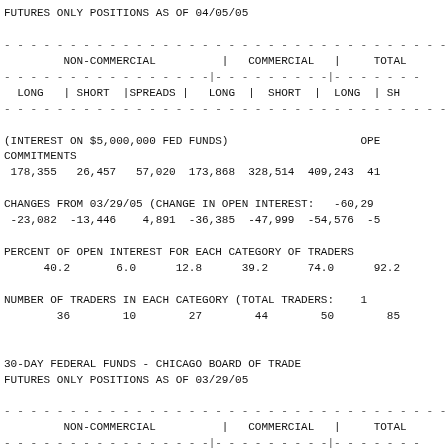FUTURES ONLY POSITIONS AS OF 04/05/05
| NON-COMMERCIAL (LONG) | NON-COMMERCIAL (SHORT) | NON-COMMERCIAL (SPREADS) | COMMERCIAL (LONG) | COMMERCIAL (SHORT) | TOTAL (LONG) | TOTAL (SHORT) |
| --- | --- | --- | --- | --- | --- | --- |
| 178,355 | 26,457 | 57,020 | 173,868 | 328,514 | 409,243 | 41... |
(INTEREST ON $5,000,000 FED FUNDS)
COMMITMENTS
178,355   26,457   57,020   173,868   328,514   409,243  41
CHANGES FROM 03/29/05 (CHANGE IN OPEN INTEREST:   -60,29
-23,082  -13,446    4,891  -36,385  -47,999  -54,576  -5
PERCENT OF OPEN INTEREST FOR EACH CATEGORY OF TRADERS
    40.2        6.0      12.8      39.2      74.0      92.2
NUMBER OF TRADERS IN EACH CATEGORY (TOTAL TRADERS:    1
      36         10        27        44        50        85
30-DAY FEDERAL FUNDS - CHICAGO BOARD OF TRADE
FUTURES ONLY POSITIONS AS OF 03/29/05
| NON-COMMERCIAL (LONG) | NON-COMMERCIAL (SHORT) | NON-COMMERCIAL (SPREADS) | COMMERCIAL (LONG) | COMMERCIAL (SHORT) | TOTAL (LONG) | TOTAL (SHORT) |
| --- | --- | --- | --- | --- | --- | --- |
| 201,437 | 39,903 | 52,129 | 210,253 | 376,513 | 463,819 | 46... |
(INTEREST ON $5,000,000 FED FUNDS)
COMMITMENTS
201,437   39,903   52,129   210,253   376,513   463,819  46